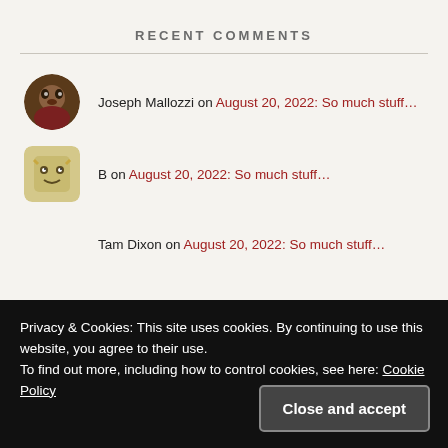RECENT COMMENTS
Joseph Mallozzi on August 20, 2022: So much stuff…
B on August 20, 2022: So much stuff…
Tam Dixon on August 20, 2022: So much stuff…
Ponytail on August 20, 2022: So much stuff…
Privacy & Cookies: This site uses cookies. By continuing to use this website, you agree to their use. To find out more, including how to control cookies, see here: Cookie Policy